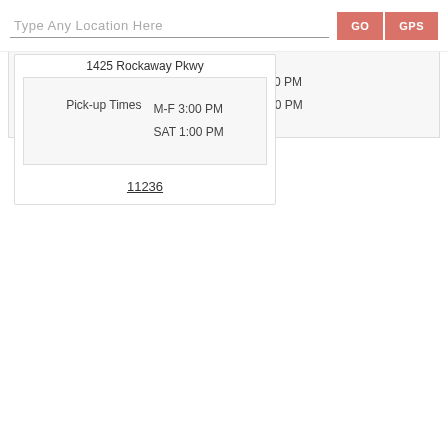Type Any Location Here
GO
GPS
1425 Rockaway Pkwy
Pick-up Times   M-F 3:00 PM   SAT 1:00 PM
11236
Sw Ave B
670 Rockaway Pkwy
Pick-up Times   M-F 3:00 PM   SAT 1:00 PM
11236